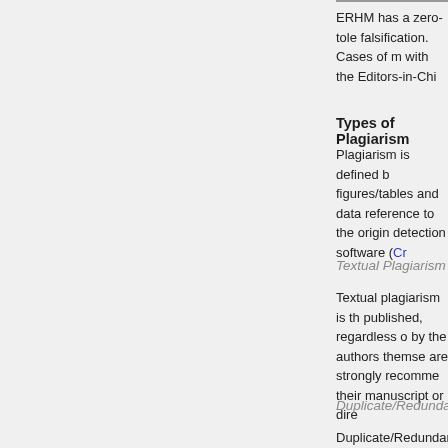ERHM has a zero-tole falsification. Cases of m with the Editors-in-Chi
Types of Plagiarism
Plagiarism is defined b figures/tables and dati reference to the origin detection software (Cr
Textual Plagiarism
Textual plagiarism is th published, regardless o by the authors themse are strongly recomme their manuscript or dire
Duplicate/Redundan
Duplicate/Redundant p and/or its results and f